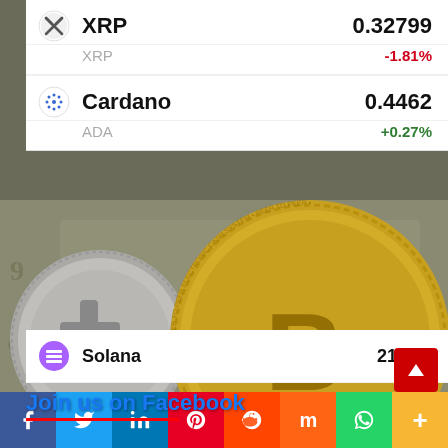[Figure (screenshot): Cryptocurrency price list screenshot showing XRP at 0.32799 (-1.81%), Cardano at 0.4462 (+0.27%), and partial Solana row at 21.827, overlaid on photo of Bitcoin and dollar bill coins]
XRP  0.32799
XRP  -1.81%
Cardano  0.4462
ADA  +0.27%
Solana  21.827
Join us on Facebook
[Figure (photo): Background photo of physical Bitcoin gold coin and silver crypto coin on top of US dollar bills]
f  Twitter  in  Pinterest  Reddit  Mix  WhatsApp  +